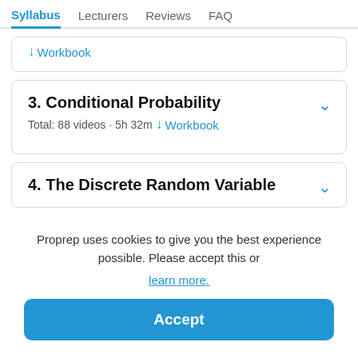Syllabus  Lecturers  Reviews  FAQ
↓ Workbook
3. Conditional Probability
Total: 88 videos · 5h 32m
↓ Workbook
4. The Discrete Random Variable
Proprep uses cookies to give you the best experience possible. Please accept this or learn more.
Accept